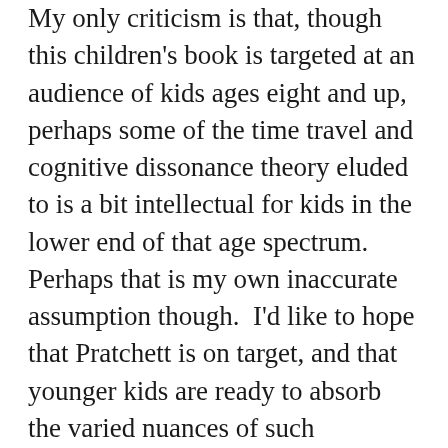My only criticism is that, though this children's book is targeted at an audience of kids ages eight and up, perhaps some of the time travel and cognitive dissonance theory eluded to is a bit intellectual for kids in the lower end of that age spectrum.  Perhaps that is my own inaccurate assumption though.  I’d like to hope that Pratchett is on target, and that younger kids are ready to absorb the varied nuances of such intelligent science fiction.  He does use language and metaphors geared towards the appropriate age level, and readers will likely still enjoy the action and humor even if they do not grasp the complexity of time travel theory.